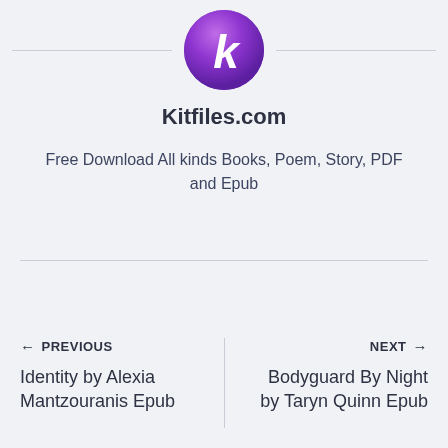[Figure (logo): Kitfiles.com logo: a purple gradient circle with a white italic K letter in the center, flanked by horizontal lines on either side]
Kitfiles.com
Free Download All kinds Books, Poem, Story, PDF and Epub
← PREVIOUS
Identity by Alexia Mantzouranis Epub
NEXT →
Bodyguard By Night by Taryn Quinn Epub